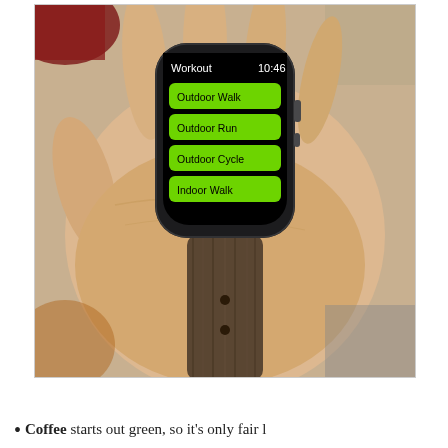[Figure (photo): A hand holding an Apple Watch with a wooden/leather watch band. The Apple Watch screen shows the Workout app with options: Outdoor Walk, Outdoor Run, Outdoor Cycle, Indoor Walk. Time shown is 10:46.]
Coffee starts out green, so it's only fair l